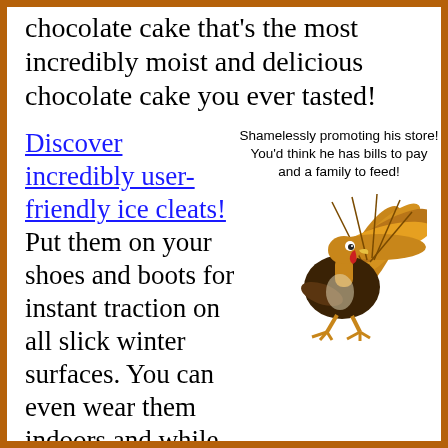chocolate cake that's the most incredibly moist and delicious chocolate cake you ever tasted!
Discover incredibly user-friendly ice cleats! Put them on your shoes and boots for instant traction on all slick winter surfaces. You can even wear them indoors and while you drive to go buy your turkey!
[Figure (illustration): Caption text: 'Shamelessly promoting his store! You'd think he has bills to pay and a family to feed!' with a cartoon turkey illustration below it]
Low-Pro ™